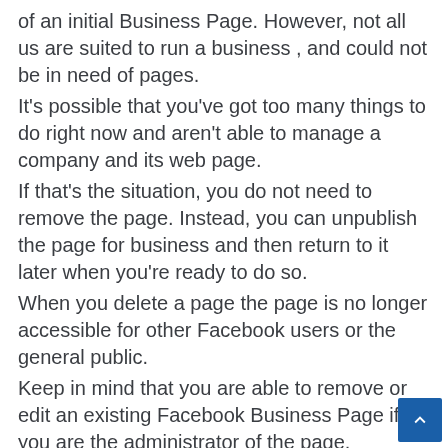of an initial Business Page. However, not all us are suited to run a business , and could not be in need of pages.
It's possible that you've got too many things to do right now and aren't able to manage a company and its web page.
If that's the situation, you do not need to remove the page. Instead, you can unpublish the page for business and then return to it later when you're ready to do so.
When you delete a page the page is no longer accessible for other Facebook users or the general public.
Keep in mind that you are able to remove or edit an existing Facebook Business Page if you are the administrator of the page.
Tips for Deleting Facebook Business Page